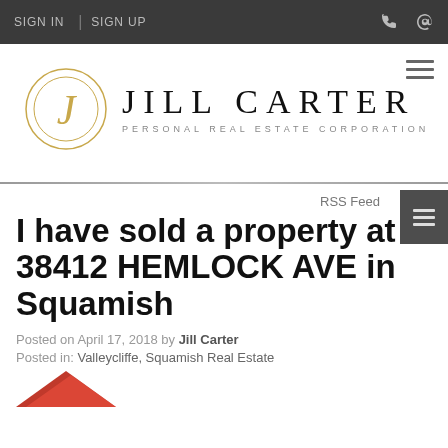SIGN IN | SIGN UP
[Figure (logo): Jill Carter Personal Real Estate Corporation logo with stylized J in a circle and text]
RSS Feed
I have sold a property at 38412 HEMLOCK AVE in Squamish
Posted on April 17, 2018 by Jill Carter
Posted in: Valleycliffe, Squamish Real Estate